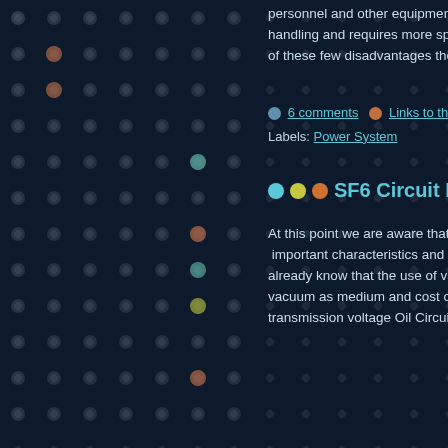personnel and other equipment of the substation from fire hazard, difficult handling and requires more space. The of these few disadvantages the OCBs a
6 comments   Links to this post
Labels: Power System
SF6 Circuit Breaker We
At this point we are aware that the medi important characteristics and life of the already know that the use of vacuum cir vacuum as medium and cost of the vacu transmission voltage Oil Circuit Breaker